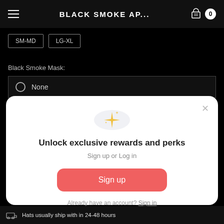BLACK SMOKE AP...
SM-MD
LG-XL
Black Smoke Mask:
None
[Figure (illustration): Sparkle/star icon inside a light grey circle]
Unlock exclusive rewards and perks
Sign up or Log in
Sign up
Already have an account? Sign in
Hats usually ship with in 24-48 hours